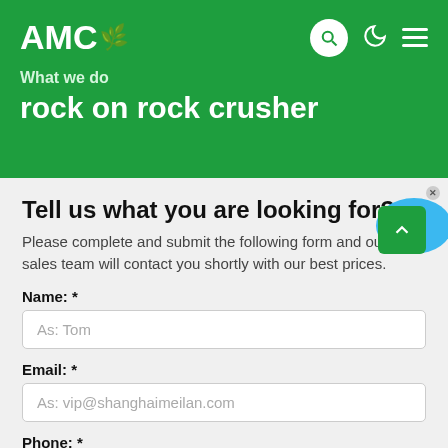AMC — What we do — rock on rock crusher
Tell us what you are looking for?
Please complete and submit the following form and our sales team will contact you shortly with our best prices.
Name: *
As: Tom
Email: *
As: vip@shanghaimeilan.com
Phone: *
With Country Code